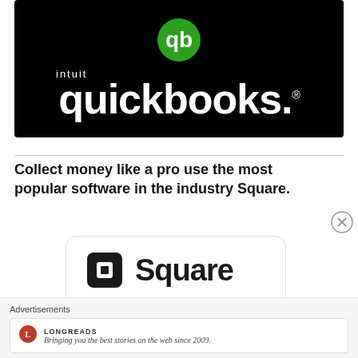[Figure (logo): Intuit QuickBooks logo: green circle with QB icon on top, white 'intuit' text above large white 'quickbooks.' wordmark on black background]
Collect money like a pro use the most popular software in the industry Square.
[Figure (logo): Square logo: dark rounded-rectangle Square icon with the word 'Square' in large dark sans-serif text, on a white card with rounded corners]
Advertisements
LONGREADS — Bringing you the best stories on the web since 2009.